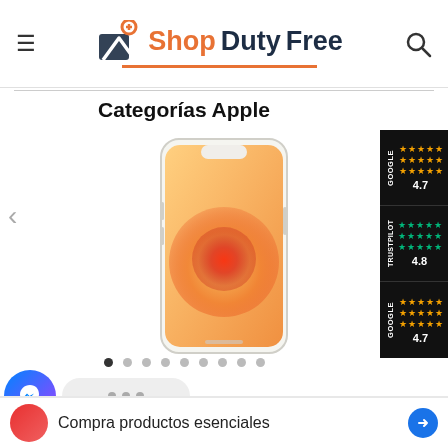ShopDutyFree
Categorías Apple
[Figure (photo): White iPhone 12 with orange/yellow gradient wallpaper displayed in portrait orientation]
[Figure (other): Google and Trustpilot rating badges showing 4.7 Google rating, 4.8 Trustpilot rating, and 4.7 Google rating]
[Figure (other): Facebook Messenger chat widget with animated dots chat bubble and chevron down button]
Compra productos esenciales